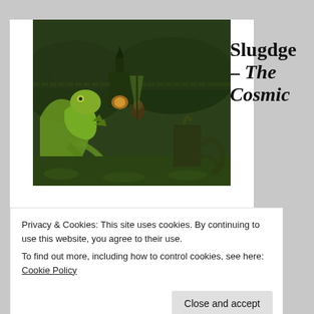Slugdge – The Cosmic
[Figure (illustration): Dark fantasy illustration showing a large green serpentine creature with tentacles and claws in a gothic landscape with a castle/cathedral in the background, fog and greenish hues throughout, with a small creature near a fire in the center]
Privacy & Cookies: This site uses cookies. By continuing to use this website, you agree to their use.
To find out more, including how to control cookies, see here: Cookie Policy
Close and accept